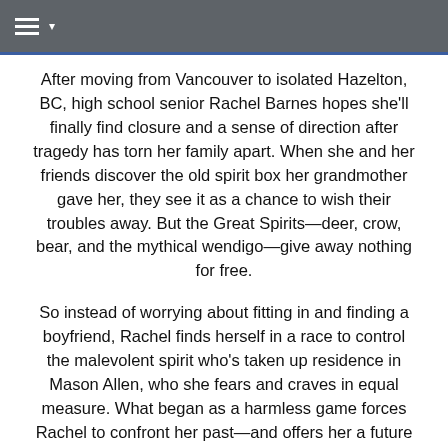≡ ▾
After moving from Vancouver to isolated Hazelton, BC, high school senior Rachel Barnes hopes she'll finally find closure and a sense of direction after tragedy has torn her family apart. When she and her friends discover the old spirit box her grandmother gave her, they see it as a chance to wish their troubles away. But the Great Spirits—deer, crow, bear, and the mythical wendigo—give away nothing for free.
So instead of worrying about fitting in and finding a boyfriend, Rachel finds herself in a race to control the malevolent spirit who's taken up residence in Mason Allen, who she fears and craves in equal measure. What began as a harmless game forces Rachel to confront her past—and offers her a future she never imagined.
Step into a reality that is not as it seems in Book 1